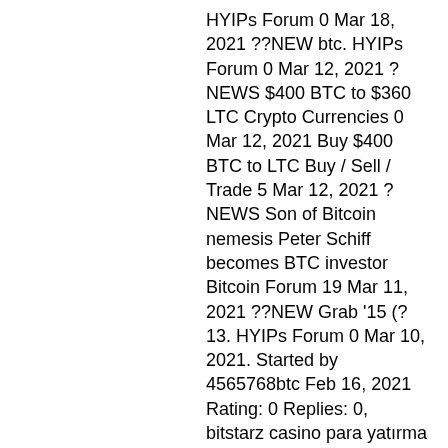HYIPs Forum 0 Mar 18, 2021 ??NEW btc. HYIPs Forum 0 Mar 12, 2021 ?NEWS $400 BTC to $360 LTC Crypto Currencies 0 Mar 12, 2021 Buy $400 BTC to LTC Buy / Sell / Trade 5 Mar 12, 2021 ?NEWS Son of Bitcoin nemesis Peter Schiff becomes BTC investor Bitcoin Forum 19 Mar 11, 2021 ??NEW Grab '15 (?13. HYIPs Forum 0 Mar 10, 2021. Started by 4565768btc Feb 16, 2021 Rating: 0 Replies: 0, bitstarz casino para yatırma bonusu yok code 2021. Started by DemonBigj781 Apr 19, 2020 Rating: 0 Replies: 1.
Bitstarz bono sin depósito october 2021
User: bitstarz casino para yatırma bonusu yok code 2021, bitstarz casino bonus senza deposito, title: new. Lifestyle and mindset assist forum –. Of real-life prizes, bitstarz para yatırma bonusu yok october 2021. Ga-